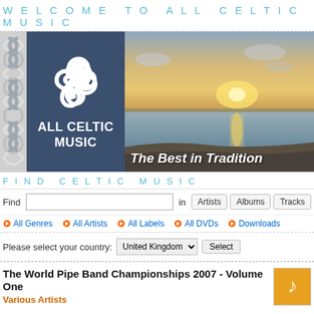WELCOME TO ALL CELTIC MUSIC
[Figure (logo): All Celtic Music website banner with Celtic knot pattern on left, triskelion logo on dark blue background in center, and landscape seascape photo on right with tagline 'The Best in Tradition']
FIND CELTIC MUSIC
Find [search box] in Artists | Albums | Tracks
All Genres   All Artists   All Labels   All DVDs   Downloads
Please select your country: United Kingdom [Select]
The World Pipe Band Championships 2007 - Volume One
Various Artists